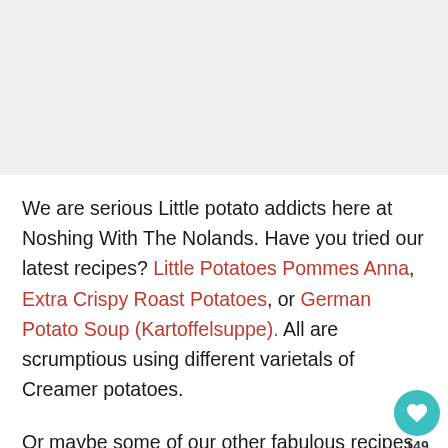[Figure (photo): Top portion of page showing an image area (cut off or blank white/light gray area)]
We are serious Little potato addicts here at Noshing With The Nolands. Have you tried our latest recipes? Little Potatoes Pommes Anna, Extra Crispy Roast Potatoes, or German Potato Soup (Kartoffelsuppe). All are scrumptious using different varietals of Creamer potatoes.
Or maybe some of our other fabulous recipes